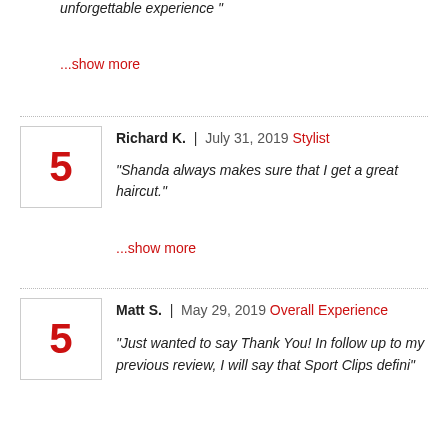unforgettable experience "
...show more
Richard K.  |  July 31, 2019  Stylist
"Shanda always makes sure that I get a great haircut."
...show more
Matt S.  |  May 29, 2019  Overall Experience
"Just wanted to say Thank You! In follow up to my previous review, I will say that Sport Clips defini"